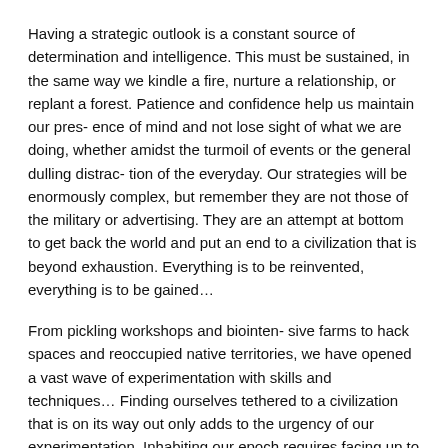Having a strategic outlook is a constant source of determination and intelligence. This must be sustained, in the same way we kindle a fire, nurture a relationship, or replant a forest. Patience and confidence help us maintain our pres- ence of mind and not lose sight of what we are doing, whether amidst the turmoil of events or the general dulling distrac- tion of the everyday. Our strategies will be enormously complex, but remember they are not those of the military or advertising. They are an attempt at bottom to get back the world and put an end to a civilization that is beyond exhaustion. Everything is to be reinvented, everything is to be gained…
From pickling workshops and biointen- sive farms to hack spaces and reoccupied native territories, we have opened a vast wave of experimentation with skills and techniques… Finding ourselves tethered to a civilization that is on its way out only adds to the urgency of our experimentation. Inhabiting our epoch requires facing up to two simple facts 1) most of us know next to nothing about what it means to actually make up a life, and 2) our power and our autonomy is dependent on our material ability to make another form of life actually live…
Techniques allow us to give form to our lives, and form connects us to the world, to what we are made of. They come from life, they address life, they overturn life, and open up the possibility of a new one. In the same moment that they illuminate the impoverishment of the one we live and the separation it demands. They also tell us something about materiality, how worlds are revealed and built, and how much